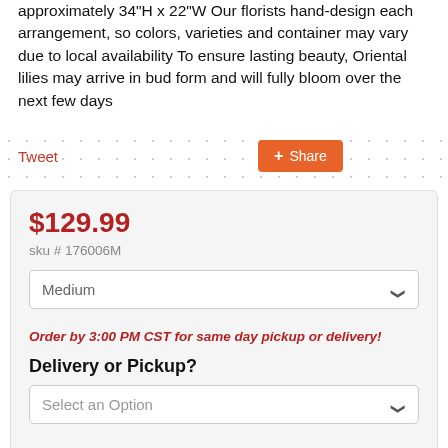approximately 34"H x 22"W Our florists hand-design each arrangement, so colors, varieties and container may vary due to local availability To ensure lasting beauty, Oriental lilies may arrive in bud form and will fully bloom over the next few days
Tweet
Share
$129.99
sku # 176006M
Medium
Order by 3:00 PM CST for same day pickup or delivery!
Delivery or Pickup?
Select an Option
Recipient's Zip Code